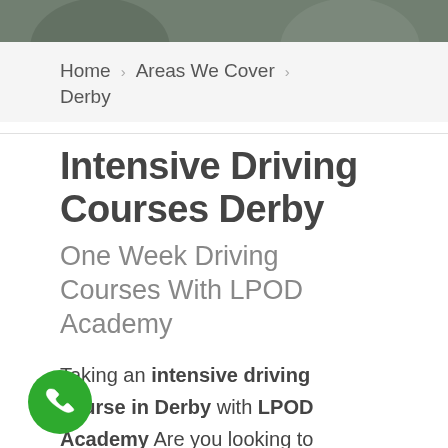[Figure (photo): Partial header photo showing top of a person, grey/dark background]
Home > Areas We Cover > Derby
Intensive Driving Courses Derby
One Week Driving Courses With LPOD Academy
Taking an intensive driving course in Derby with LPOD Academy Are you looking to pass your driving test quickly? Are you in a rush due to a job, promotion or family